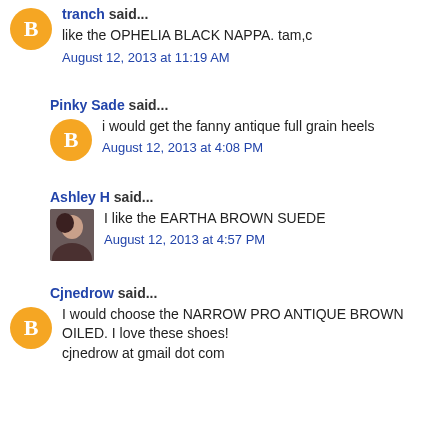tranch said...
like the OPHELIA BLACK NAPPA. tam,c
August 12, 2013 at 11:19 AM
Pinky Sade said...
i would get the fanny antique full grain heels
August 12, 2013 at 4:08 PM
Ashley H said...
I like the EARTHA BROWN SUEDE
August 12, 2013 at 4:57 PM
Cjnedrow said...
I would choose the NARROW PRO ANTIQUE BROWN OILED. I love these shoes!
cjnedrow at gmail dot com